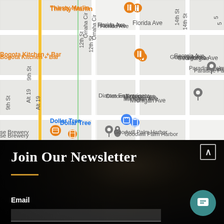[Figure (map): Google Maps screenshot showing street grid around Palm Harbor area with landmarks: Thirsty Marlin (restaurant, orange), Bogota Kitchen + Bar (restaurant, orange), Dollar Tree (blue), Paradise Palm Services (pin), Diatom Enterprises (pin), Goodwill Palm Harbor (pin), Gordon Heal (partial). Streets include Florida Ave, Georgia Ave, Michigan Ave, Wisconsin Ave, 12th St, Omaha Cir, 14th St, 9th St, Alt 19.]
Join Our Newsletter
Email